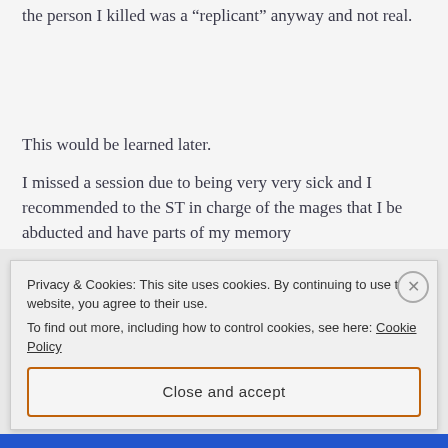the person I killed was a “replicant” anyway and not real.
This would be learned later.
I missed a session due to being very very sick and I recommended to the ST in charge of the mages that I be abducted and have parts of my memory
Privacy & Cookies: This site uses cookies. By continuing to use this website, you agree to their use.
To find out more, including how to control cookies, see here: Cookie Policy
Close and accept